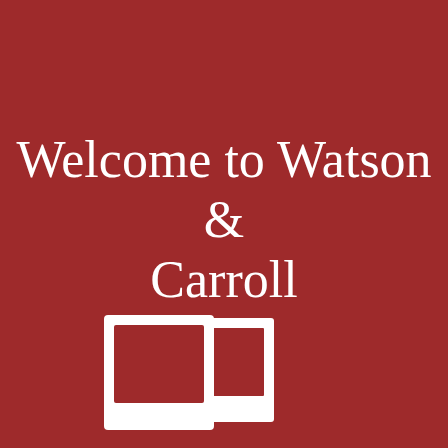Welcome to Watson & Carroll
[Figure (logo): A white polaroid-style photo frame icon on dark red background]